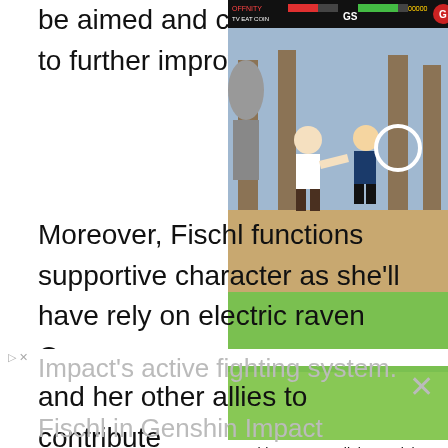be aimed and can hit speci to further improve her dam
[Figure (screenshot): Video game screenshot showing fighting game with health bars at top (OFFNITY TV, EAT COIN, GS labels), two fighters in a Chinese temple-style arena background]
Moreover, Fischl functions supportive character as she'll have rely on electric raven Oz and her other allies to contribute in fights.
[Figure (screenshot): Green background partial screenshot, lower half of sidebar card]
Genshin Impact Collei materials - ascension, level up, and talent farming locati...
READ MORE
Lastly, her animations look similar in Genshin Impact but Fischl actually fights more freely due to Honkai
Impact's active fighting system.
Fischl in Genshin Impact